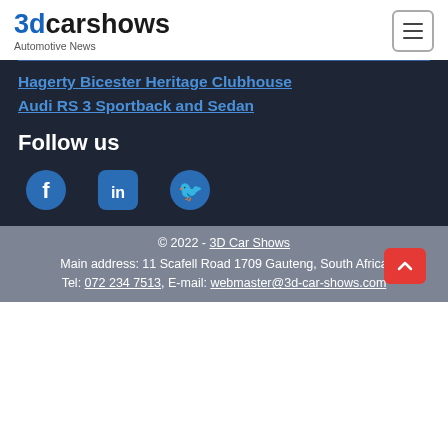3dcarshows Automotive News
Hagerty Bicester Heritage Clubhouse
Audi RS 3 Sportback and Sedan
Follow us
[Figure (infographic): Social media icons: Facebook, LinkedIn, Twitter]
© 2022 - 3D Car Shows
Main address: 11 Scafell Road 1709 Gauteng, South Africa
Tel: 072 234 7513, E-mail: webmaster@3d-car-shows.com